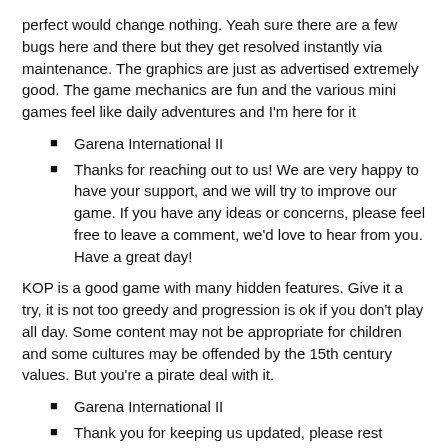perfect would change nothing. Yeah sure there are a few bugs here and there but they get resolved instantly via maintenance. The graphics are just as advertised extremely good. The game mechanics are fun and the various mini games feel like daily adventures and I'm here for it
Garena International II
Thanks for reaching out to us! We are very happy to have your support, and we will try to improve our game. If you have any ideas or concerns, please feel free to leave a comment, we'd love to hear from you. Have a great day!
KOP is a good game with many hidden features. Give it a try, it is not too greedy and progression is ok if you don't play all day. Some content may not be appropriate for children and some cultures may be offended by the 15th century values. But you're a pirate deal with it.
Garena International II
Thank you for keeping us updated, please rest assured that